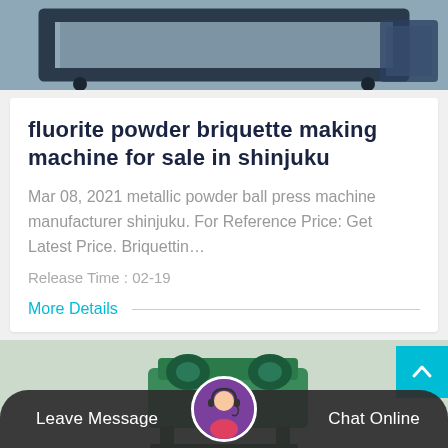[Figure (photo): Top portion of a briquette making machine, metallic frame structure on grey background]
fluorite powder briquette making machine for sale in shinjuku
Mar 08, 2021 metallic powder ball press machine manufacturer shinjuku. For Reference Price: Get Latest Price. Briquettin…
Release Time : 02-19
More Details
[Figure (photo): Green industrial machine (ball press / briquette machine) visible at bottom of page]
Leave Message
Chat Online